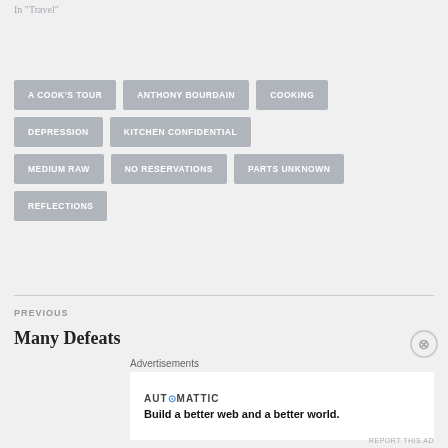In "Travel"
A COOK'S TOUR
ANTHONY BOURDAIN
COOKING
DEPRESSION
KITCHEN CONFIDENTIAL
MEDIUM RAW
NO RESERVATIONS
PARTS UNKNOWN
REFLECTIONS
PREVIOUS
Many Defeats
Advertisements
AUT⊙MATTIC
Build a better web and a better world.
REPORT THIS AD